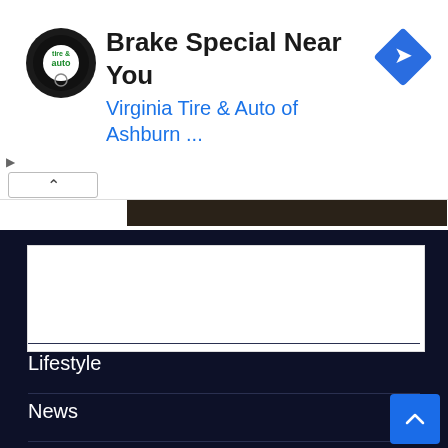[Figure (screenshot): Advertisement banner with Virginia Tire & Auto logo, text 'Brake Special Near You' and 'Virginia Tire & Auto of Ashburn ...' in blue, and a blue diamond navigation icon on the right. Play and close icons on the left edge.]
[Figure (photo): Dark image strip showing partial photo at top of content area]
BROWSE BY CATEGORY
Business
Lifestyle
News